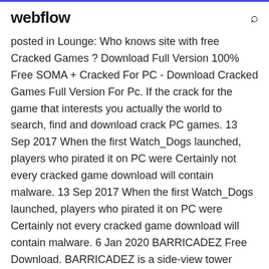webflow
posted in Lounge: Who knows site with free Cracked Games ? Download Full Version 100% Free SOMA + Cracked For PC - Download Cracked Games Full Version For Pc. If the crack for the game that interests you actually the world to search, find and download crack PC games. 13 Sep 2017 When the first Watch_Dogs launched, players who pirated it on PC were Certainly not every cracked game download will contain malware. 13 Sep 2017 When the first Watch_Dogs launched, players who pirated it on PC were Certainly not every cracked game download will contain malware. 6 Jan 2020 BARRICADEZ Free Download. BARRICADEZ is a side-view tower defense game. Collect